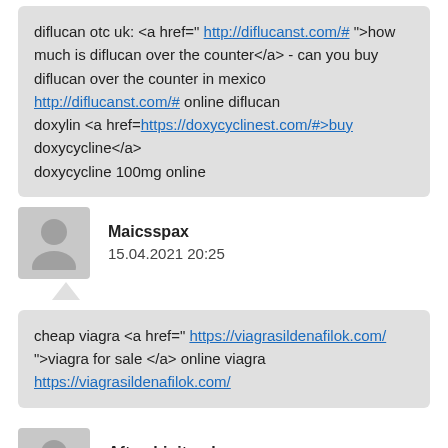diflucan otc uk: <a href=" http://diflucanst.com/# ">how much is diflucan over the counter</a> - can you buy diflucan over the counter in mexico http://diflucanst.com/# online diflucan doxylin <a href=https://doxycyclinest.com/#>buy doxycycline</a> doxycycline 100mg online
Maicsspax
15.04.2021 20:25
cheap viagra <a href=" https://viagrasildenafilok.com/ ">viagra for sale </a> online viagra https://viagrasildenafilok.com/
Aftembinitreab
15.04.2021 21:00
https://viagrasildenafilok.com/ online viagra https://viagrasildenafilok.com/ - online viagra <a href="https://viagrasildenafilok.com/ ">buy sildenafil </a>